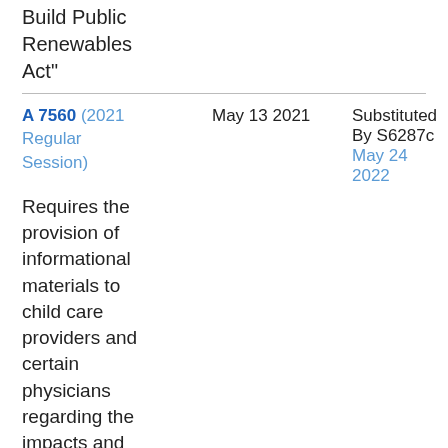"New York State Build Public Renewables Act"
| Bill | Date | Status |
| --- | --- | --- |
| A 7560 (2021 Regular Session) | May 13 2021 | Substituted By S6287c May 24 2022 |
Requires the provision of informational materials to child care providers and certain physicians regarding the impacts and dangers of congenital